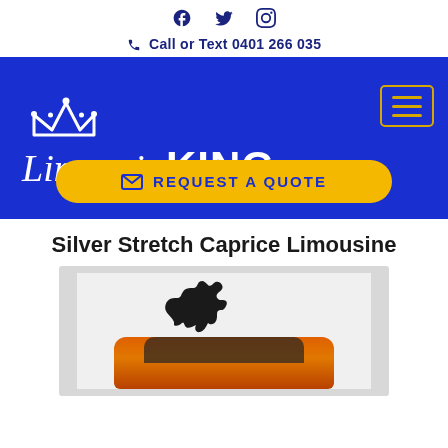f  Twitter  Instagram  Call or Text 0401 266 035
[Figure (logo): Limousine KING logo in white text with crown icon on blue background, with yellow-bordered hamburger menu button and gold REQUEST A QUOTE button]
Silver Stretch Caprice Limousine
[Figure (photo): Photo of an orange Ford Mustang car with a black running horse silhouette logo above it, shown on a light grey background]